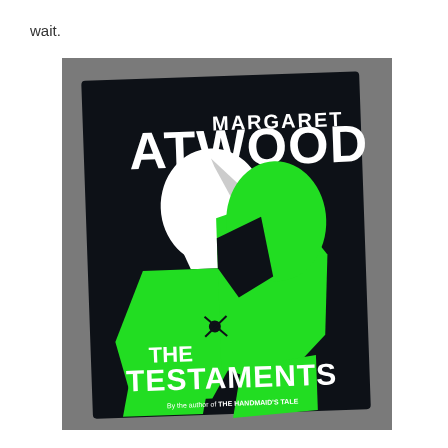wait.
[Figure (photo): A photograph of the book 'The Testaments' by Margaret Atwood, placed on a gray surface. The book cover features a dark navy/black background with the author name 'MARGARET ATWOOD' in large white letters at the top, and a stylized illustration of a figure in a bright green robe with a white hood (reminiscent of the Handmaid's Tale iconography). The title 'THE TESTAMENTS' is displayed in large white letters at the bottom, with a subtitle 'By the author of THE HANDMAID'S TALE' below it.]